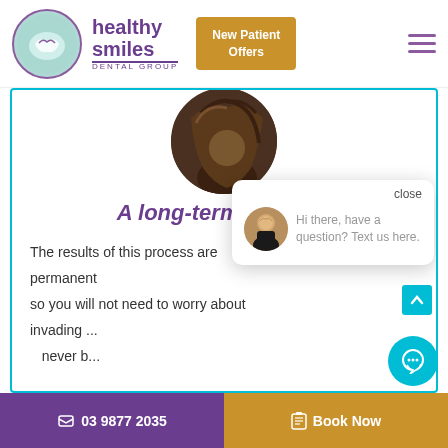[Figure (logo): Healthy Smiles Dental Group logo with teal circle and purple text]
New Patient Offers
[Figure (photo): Circular cropped photo of person from above showing hair]
A long-term solution
The results of this process are permanent so you will not need to worry about invading... never b...
[Figure (screenshot): Chat popup with close button, avatar photo of blonde woman, and message: Hi there, have a question? Text us here.]
close
Hi there, have a question? Text us here.
📞 03 9877 2035
🗒 Book Now